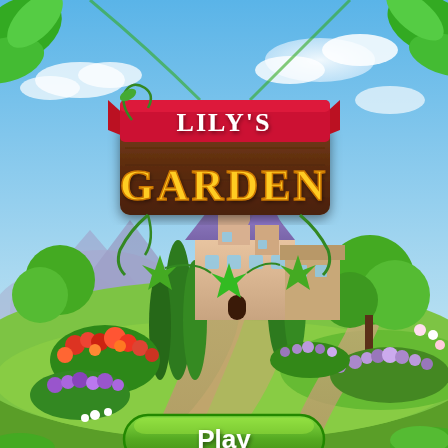[Figure (illustration): Lily's Garden mobile game title screen. A colorful illustrated scene showing a large Victorian-style mansion with purple roof in the center background, surrounded by tall green cypress trees, lush garden with colorful flowers (red, purple, orange), a winding stone path, rolling green hills, mountains in the background, and a bright blue sky with white clouds. Large leaves border the top corners. In the upper portion, a decorative wooden sign logo reads 'LILY'S GARDEN' — 'LILY'S' appears on a red ribbon banner in white text, and 'GARDEN' appears in large orange/yellow letters on a brown wooden board, decorated with green ivy vines and star-shaped leaves. At the bottom, a large green pill-shaped button shows 'Play' in white bold text.]